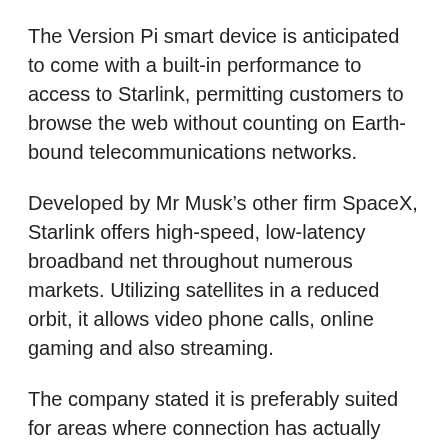The Version Pi smart device is anticipated to come with a built-in performance to access to Starlink, permitting customers to browse the web without counting on Earth-bound telecommunications networks.
Developed by Mr Musk’s other firm SpaceX, Starlink offers high-speed, low-latency broadband net throughout numerous markets. Utilizing satellites in a reduced orbit, it allows video phone calls, online gaming and also streaming.
The company stated it is preferably suited for areas where connection has actually been undependable or entirely unavailable.
2021 Tesla Model S Plaid. Politeness Tesla
Tesla has actually disclosed an upgraded variation of its